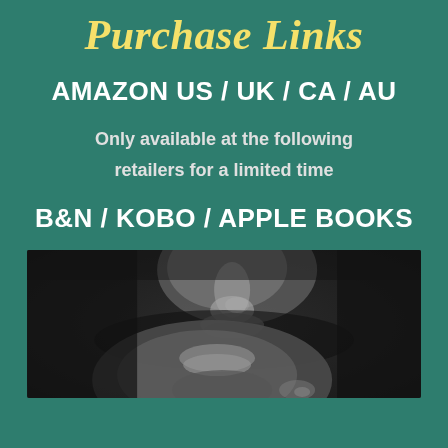Purchase Links
AMAZON US / UK / CA / AU
Only available at the following retailers for a limited time
B&N / KOBO / APPLE BOOKS
[Figure (photo): Close-up black and white photograph of two faces about to kiss, showing lips and partial facial features in dramatic lighting]